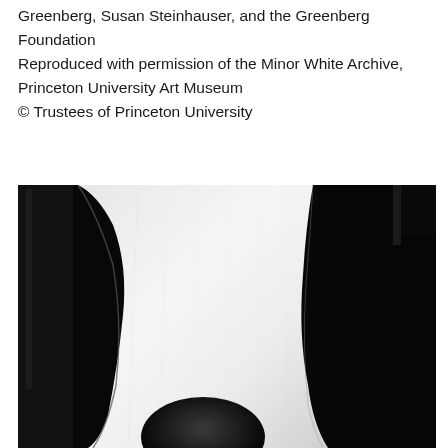Greenberg, Susan Steinhauser, and the Greenberg Foundation
Reproduced with permission of the Minor White Archive, Princeton University Art Museum
© Trustees of Princeton University
[Figure (photo): Black and white photograph showing an abstract close-up image with a large white curved form against a dark black background, with a dark rounded shape at the bottom center.]